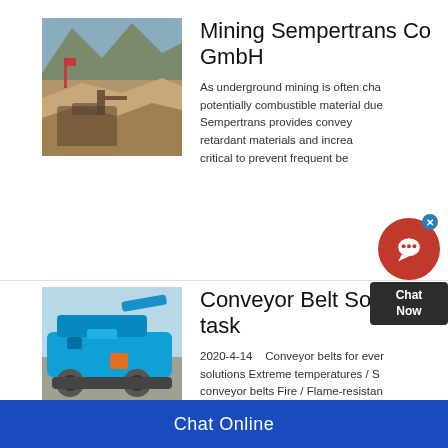[Figure (photo): Open-cast or quarry mining site with mountains in background, conveyor belt machinery visible]
Mining Sempertrans Co GmbH
As underground mining is often characterized by potentially combustible material due to Sempertrans provides conveyor retardant materials and increa critical to prevent frequent be
[Figure (photo): Blue mobile crushing/conveyor machine on a flat surface outdoors]
Conveyor Belt Solutions task
2020-4-14    Conveyor belts for ever solutions Extreme temperatures / S conveyor belts Fire / Flame-resistan belts Rips & breakthrough caused b gouge-resistant conveyor belts Long
Chat Online